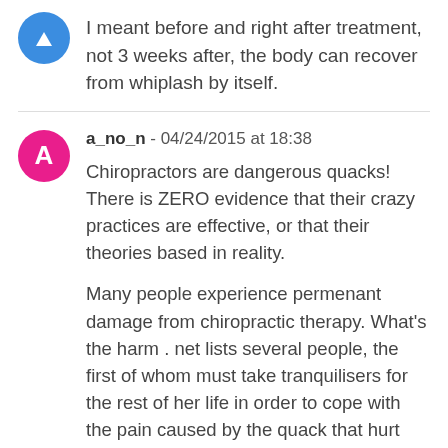I meant before and right after treatment, not 3 weeks after, the body can recover from whiplash by itself.
a_no_n - 04/24/2015 at 18:38
Chiropractors are dangerous quacks! There is ZERO evidence that their crazy practices are effective, or that their theories based in reality.
Many people experience permenant damage from chiropractic therapy. What's the harm . net lists several people, the first of whom must take tranquilisers for the rest of her life in order to cope with the pain caused by the quack that hurt her by twisting her neck a way it wasn't supposed to bend.
It sickens me to watch one of them abusing a